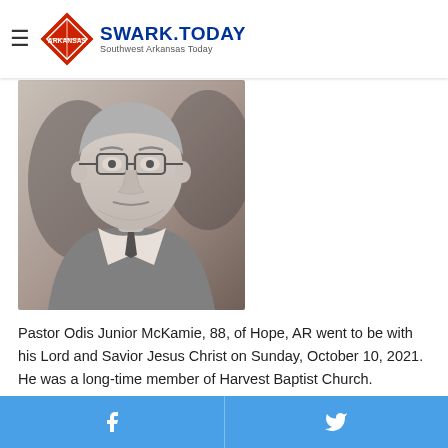SWARK.TODAY – Southwest Arkansas Today
[Figure (photo): Black and white portrait photo of Pastor Odis Junior McKamie, an elderly man wearing glasses and a suit with tie.]
Pastor Odis Junior McKamie, 88, of Hope, AR went to be with his Lord and Savior Jesus Christ on Sunday, October 10, 2021. He was a long-time member of Harvest Baptist Church.
Facebook share button | Twitter share button